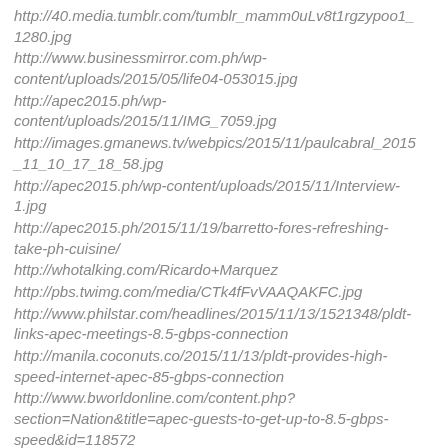http://40.media.tumblr.com/tumblr_mamm0uLv8t1rgzypoo1_1280.jpg
http://www.businessmirror.com.ph/wp-content/uploads/2015/05/life04-053015.jpg
http://apec2015.ph/wp-content/uploads/2015/11/IMG_7059.jpg
http://images.gmanews.tv/webpics/2015/11/paulcabral_2015_11_10_17_18_58.jpg
http://apec2015.ph/wp-content/uploads/2015/11/Interview-1.jpg
http://apec2015.ph/2015/11/19/barretto-fores-refreshing-take-ph-cuisine/
http://whotalking.com/Ricardo+Marquez
http://pbs.twimg.com/media/CTk4fFvVAAQAKFC.jpg
http://www.philstar.com/headlines/2015/11/13/1521348/pldt-links-apec-meetings-8.5-gbps-connection
http://manila.coconuts.co/2015/11/13/pldt-provides-high-speed-internet-apec-85-gbps-connection
http://www.bworldonline.com/content.php?section=Nation&title=apec-guests-to-get-up-to-8.5-gbps-speed&id=118572
http://bizbeatblog.globeltelecom.com.ph/...